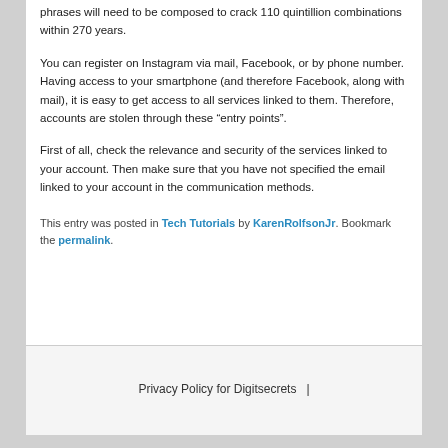phrases will need to be composed to crack 110 quintillion combinations within 270 years.
You can register on Instagram via mail, Facebook, or by phone number. Having access to your smartphone (and therefore Facebook, along with mail), it is easy to get access to all services linked to them. Therefore, accounts are stolen through these “entry points”.
First of all, check the relevance and security of the services linked to your account. Then make sure that you have not specified the email linked to your account in the communication methods.
This entry was posted in Tech Tutorials by KarenRolfsonJr. Bookmark the permalink.
Privacy Policy for Digitsecrets  |